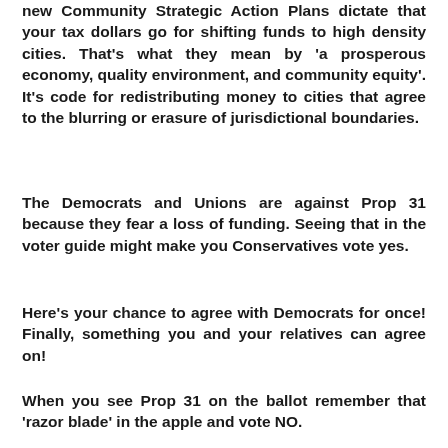new Community Strategic Action Plans dictate that your tax dollars go for shifting funds to high density cities. That's what they mean by 'a prosperous economy, quality environment, and community equity'. It's code for redistributing money to cities that agree to the blurring or erasure of jurisdictional boundaries.
The Democrats and Unions are against Prop 31 because they fear a loss of funding. Seeing that in the voter guide might make you Conservatives vote yes.
Here's your chance to agree with Democrats for once! Finally, something you and your relatives can agree on!
When you see Prop 31 on the ballot remember that 'razor blade' in the apple and vote NO.